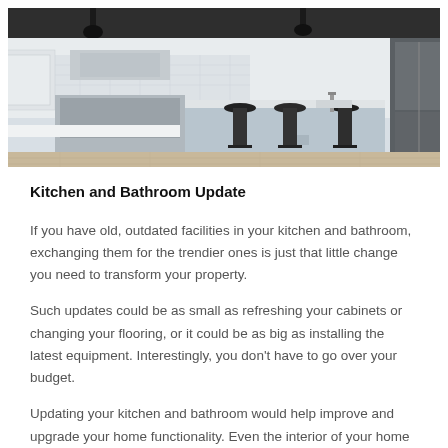[Figure (photo): Modern white kitchen interior with island, black bar stools, white cabinets, stainless appliances, and light wood flooring]
Kitchen and Bathroom Update
If you have old, outdated facilities in your kitchen and bathroom, exchanging them for the trendier ones is just that little change you need to transform your property.
Such updates could be as small as refreshing your cabinets or changing your flooring, or it could be as big as installing the latest equipment. Interestingly, you don't have to go over your budget.
Updating your kitchen and bathroom would help improve and upgrade your home functionality. Even the interior of your home becomes more organized and beautiful.